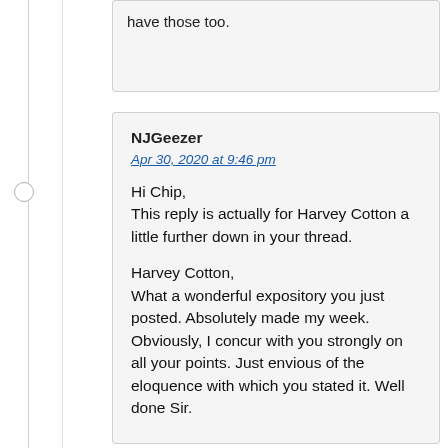have those too.
NJGeezer
Apr 30, 2020 at 9:46 pm

Hi Chip,
This reply is actually for Harvey Cotton a little further down in your thread.

Harvey Cotton,
What a wonderful expository you just posted. Absolutely made my week. Obviously, I concur with you strongly on all your points. Just envious of the eloquence with which you stated it. Well done Sir.